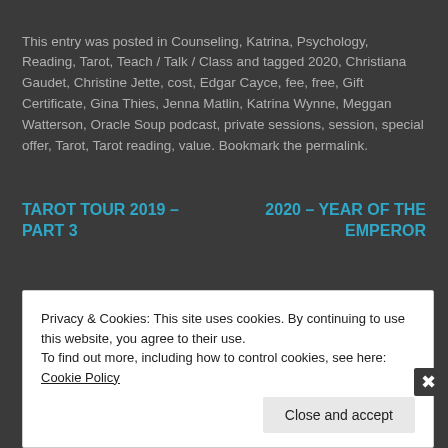This entry was posted in Counseling, Katrina, Psychology, Reading, Tarot, Teach / Talk / Class and tagged 2020, Christiana Gaudet, Christine Jette, cost, Edgar Cayce, fee, free, Gift Certificate, Gina Thies, Jenna Matlin, Katrina Wynne, Meggan Watterson, Oracle Soup podcast, private sessions, session, special offer, Tarot, Tarot reading, value. Bookmark the permalink.
TAROT TOUR 2019 – PART 3
2020 – YEAR OF THE EMPEROR
Privacy & Cookies: This site uses cookies. By continuing to use this website, you agree to their use.
To find out more, including how to control cookies, see here: Cookie Policy